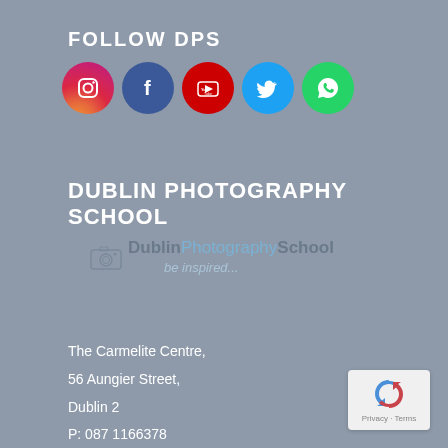FOLLOW DPS
[Figure (illustration): Row of five social media icons: Instagram, Facebook, YouTube, Twitter, WhatsApp]
DUBLIN PHOTOGRAPHY SCHOOL
[Figure (logo): Dublin Photography School logo with camera icon and tagline 'be inspired...']
The Carmelite Centre,
56 Aungier Street,
Dublin 2
P: 087 1166378
E: info@dublinphotographyschool.ie
[Figure (other): reCAPTCHA Privacy - Terms badge]